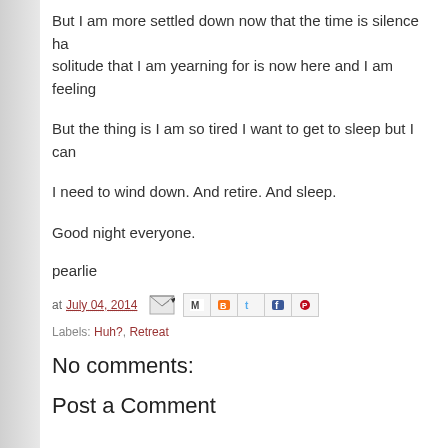But I am more settled down now that the time is silence ha... solitude that I am yearning for is now here and I am feeling...
But the thing is I am so tired I want to get to sleep but I can...
I need to wind down. And retire. And sleep.
Good night everyone.
pearlie
at July 04, 2014
Labels: Huh?, Retreat
No comments:
Post a Comment